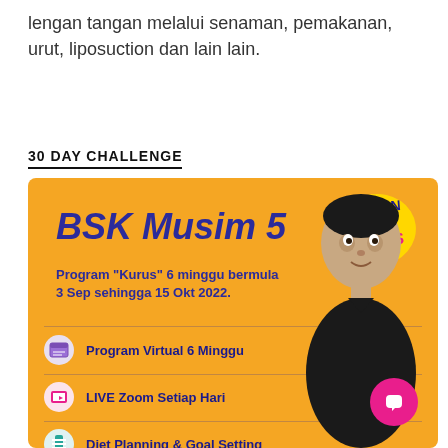lengan tangan melalui senaman, pemakanan, urut, liposuction dan lain lain.
30 DAY CHALLENGE
[Figure (infographic): BSK Musim 5 promotional banner on orange background. Features 'BSK Musim 5' title in bold blue italic text, 'Bukan Soal Kurus' logo top right, subtitle '6 minggu bermula 3 Sep sehingga 15 Okt 2022', and list of features: Program Virtual 6 Minggu, LIVE Zoom Setiap Hari, Diet Planning & Goal Setting, NEW! BSK Community Platform, RM50 Cash Refund Available. Photo of a man on the right side. Pink chat button bottom right.]